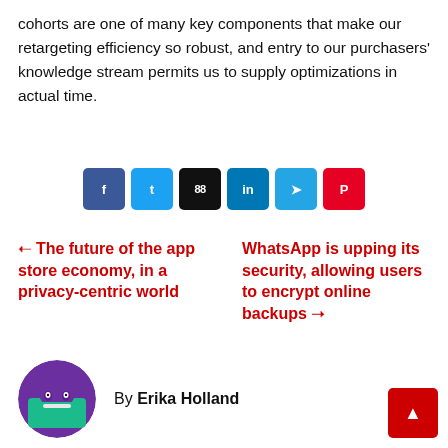cohorts are one of many key components that make our retargeting efficiency so robust, and entry to our purchasers' knowledge stream permits us to supply optimizations in actual time.
[Figure (infographic): Row of six social sharing buttons: Facebook (dark blue), Twitter (light blue), count showing 88 (black), LinkedIn (dark blue), Telegram (light blue), Pinterest (red)]
← The future of the app store economy, in a privacy-centric world
WhatsApp is upping its security, allowing users to encrypt online backups →
By Erika Holland